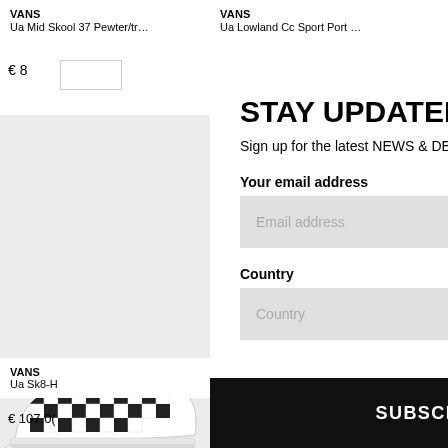VANS
Ua Mid Skool 37 Pewter/tr…
VANS
Ua Lowland Cc Sport Port …
€ 8
STAY UPDATED!
Sign up for the latest NEWS & DEALS!
Your email address
Email address
Country
Country
[Figure (photo): Partial image of a Vans checkered slip-on shoe]
VANS
Ua Sk8-h
€ 107,0(
SUBSCRIBE